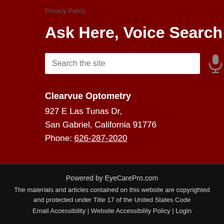Privacy Policy
Ask Here, Voice Search
[Figure (other): Search input box with microphone icon for voice search]
Clearvue Optometry
927 E Las Tunas Dr,
San Gabriel, California 91776
Phone: 626-287-2020
Powered by EyeCarePro.com
The materials and articles contained on this website are copyrighted and protected under Title 17 of the United States Code
Email Accessibility | Website Accessibility Policy | Login